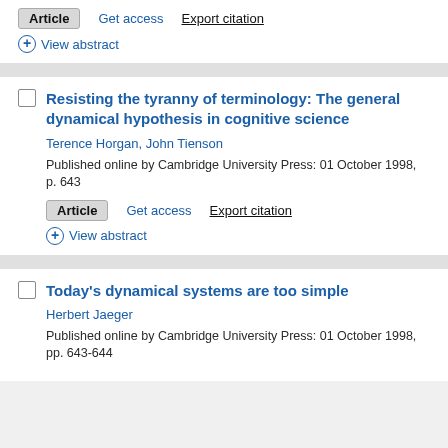Article | Get access | Export citation
+ View abstract
Resisting the tyranny of terminology: The general dynamical hypothesis in cognitive science
Terence Horgan, John Tienson
Published online by Cambridge University Press: 01 October 1998, p. 643
Article | Get access | Export citation
+ View abstract
Today's dynamical systems are too simple
Herbert Jaeger
Published online by Cambridge University Press: 01 October 1998, pp. 643-644